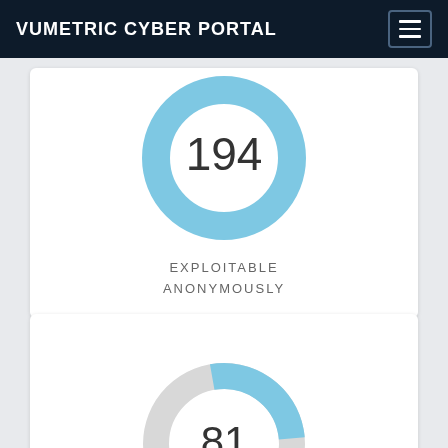VUMETRIC CYBER PORTAL
[Figure (donut-chart): Exploitable Anonymously]
EXPLOITABLE
ANONYMOUSLY
[Figure (donut-chart): Second metric]